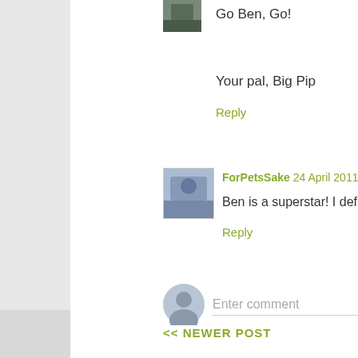Go Ben, Go!
Your pal, Big Pip
Reply
ForPetsSake 24 April 2011 at 22:18
Ben is a superstar! I definitely think agility is o
Reply
Enter comment
<< NEWER POST